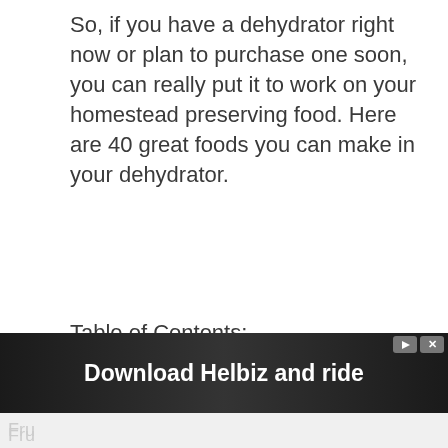So, if you have a dehydrator right now or plan to purchase one soon, you can really put it to work on your homestead preserving food. Here are 40 great foods you can make in your dehydrator.
Table of Contents:
Fruits
Fruit Leather
Vegetables
Meats, Poultry and Fish
Other Foods to Dry in Your Dehydrator
Parting Thoughts
[Figure (photo): Advertisement banner: Download Helbiz and ride, with a partial image of a person on a vehicle in the background. Overlaid with play and close icons.]
Fru